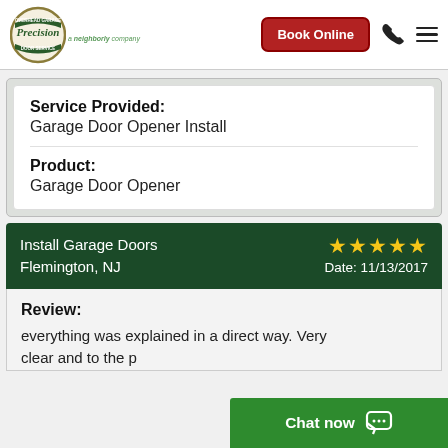[Figure (logo): Precision Overhead Garage Door Service logo - circular badge with company name, 'a neighborly company' tagline below]
Book Online
| Service Provided: | Garage Door Opener Install |
| Product: | Garage Door Opener |
Install Garage Doors Flemington, NJ
★★★★★  Date: 11/13/2017
Review:
everything was explained in a direct way. Very clear and to the p...
Chat now